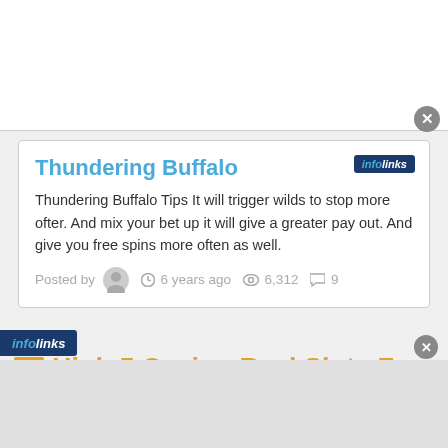[Figure (screenshot): White advertisement banner at top of page]
Thundering Buffalo
Thundering Buffalo Tips It will trigger wilds to stop more ofter. And mix your bet up it will give a greater pay out. And give you free spins more often as well.
Posted by  6 years ago  6,312  9
High 5 Casino Real Slots Forum
Join the Forum, Discuss anything about High 5 Casino Real Slots. You can talk about tips, tricks, cheats, ask or simply introduce yourself to the club. These